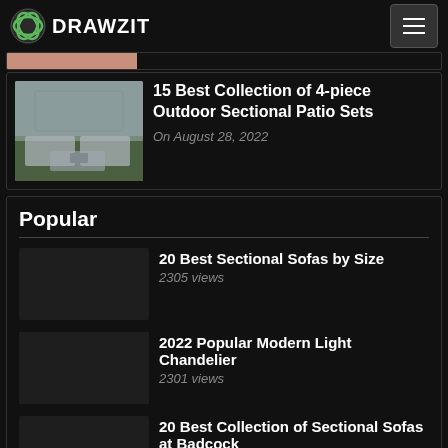DRAWZIT
[Figure (photo): Partially cropped article thumbnail (salmon/terracotta color)]
[Figure (photo): Outdoor sectional patio set with chairs and table in a garden]
15 Best Collection of 4-piece Outdoor Sectional Patio Sets
On August 28, 2022
Popular
20 Best Sectional Sofas by Size
2305 views
2022 Popular Modern Light Chandelier
2301 views
20 Best Collection of Sectional Sofas at Badcock
2301 views
20 Best Collection of Bedroom Sofas